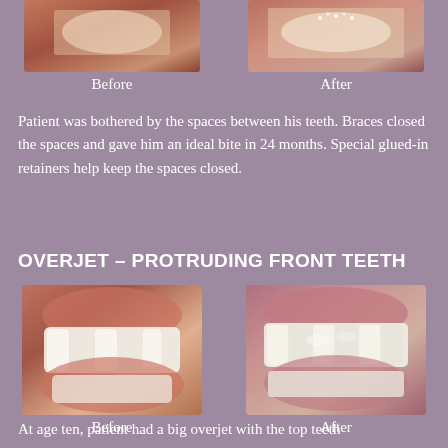[Figure (photo): Before photo showing close-up of teeth with spaces]
Before
[Figure (photo): After photo showing teeth after braces treatment]
After
Patient was bothered by the spaces between his teeth. Braces closed the spaces and gave him an ideal bite in 24 months. Special glued-in retainers help keep the spaces closed.
OVERJET – PROTRUDING FRONT TEETH
[Figure (photo): Before photo showing overjet with protruding top teeth]
Before
[Figure (photo): After photo showing corrected teeth alignment]
After
At age ten, patient had a big overjet with the top teeth